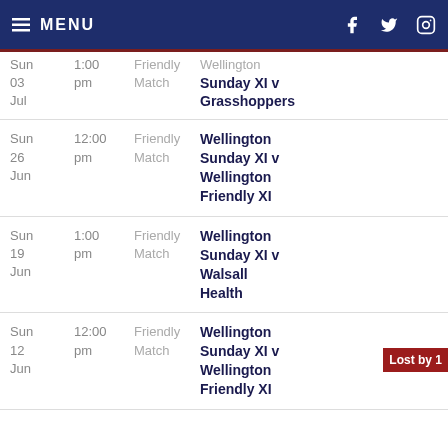MENU
| Date | Time | Type | Match | Result |
| --- | --- | --- | --- | --- |
| Sun 03 Jul | 1:00 pm | Friendly Match | Wellington Sunday XI v Grasshoppers |  |
| Sun 26 Jun | 12:00 pm | Friendly Match | Wellington Sunday XI v Wellington Friendly XI |  |
| Sun 19 Jun | 1:00 pm | Friendly Match | Wellington Sunday XI v Walsall Health |  |
| Sun 12 Jun | 12:00 pm | Friendly Match | Wellington Sunday XI v Wellington Friendly XI | Lost by 1 |